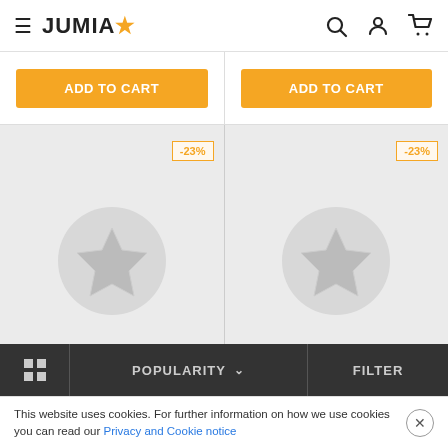[Figure (screenshot): Jumia e-commerce website header with hamburger menu, JUMIA logo with orange star, search icon, user icon, and cart icon]
[Figure (screenshot): Two product cards each showing orange ADD TO CART button]
[Figure (screenshot): Two product image placeholders with -23% discount badge and grey star circle placeholder]
[Figure (screenshot): Bottom toolbar with grid icon, POPULARITY dropdown, and FILTER button]
This website uses cookies. For further information on how we use cookies you can read our Privacy and Cookie notice